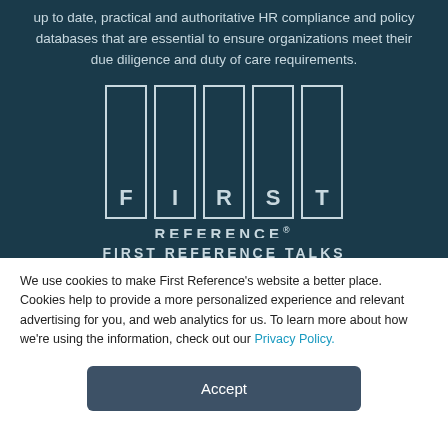up to date, practical and authoritative HR compliance and policy databases that are essential to ensure organizations meet their due diligence and duty of care requirements.
[Figure (logo): First Reference logo: five vertical rectangular columns each containing a letter (F, I, R, S, T) with 'REFERENCE®' text below, in a teal/dark blue background.]
FIRST REFERENCE TALKS
We use cookies to make First Reference's website a better place. Cookies help to provide a more personalized experience and relevant advertising for you, and web analytics for us. To learn more about how we're using the information, check out our Privacy Policy.